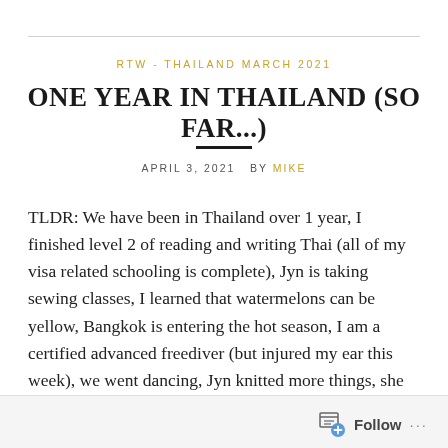RTW - THAILAND MARCH 2021
ONE YEAR IN THAILAND (SO FAR...)
APRIL 3, 2021  BY MIKE
TLDR: We have been in Thailand over 1 year, I finished level 2 of reading and writing Thai (all of my visa related schooling is complete), Jyn is taking sewing classes, I learned that watermelons can be yellow, Bangkok is entering the hot season, I am a certified advanced freediver (but injured my ear this week), we went dancing, Jyn knitted more things, she volunteers at a local cat rescue, and we recap some of our favorite events/moments of our past year.
Follow ...